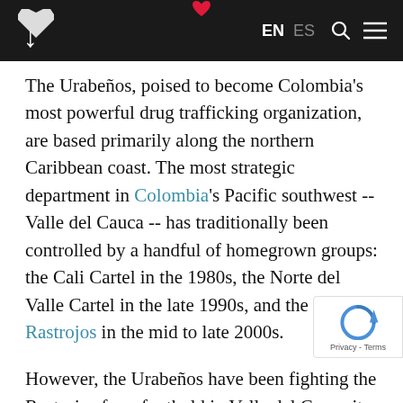EN ES [navigation bar with logo, language toggle, search and menu icons]
The Urabeños, poised to become Colombia's most powerful drug trafficking organization, are based primarily along the northern Caribbean coast. The most strategic department in Colombia's Pacific southwest -- Valle del Cauca -- has traditionally been controlled by a handful of homegrown groups: the Cali Cartel in the 1980s, the Norte del Valle Cartel in the late 1990s, and the Rastrojos in the mid to late 2000s.
However, the Urabeños have been fighting the Rastrojos for a foothold in Valle del Cauca its capital, Cali, since spring 2011. This cau